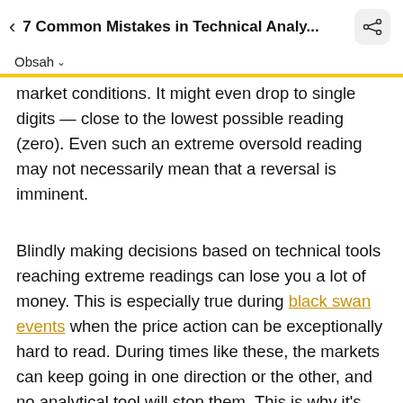< 7 Common Mistakes in Technical Analy...
Obsah
market conditions. It might even drop to single digits — close to the lowest possible reading (zero). Even such an extreme oversold reading may not necessarily mean that a reversal is imminent.
Blindly making decisions based on technical tools reaching extreme readings can lose you a lot of money. This is especially true during black swan events when the price action can be exceptionally hard to read. During times like these, the markets can keep going in one direction or the other, and no analytical tool will stop them. This is why it's always important to consider other factors as well, and not rely on a single tool.